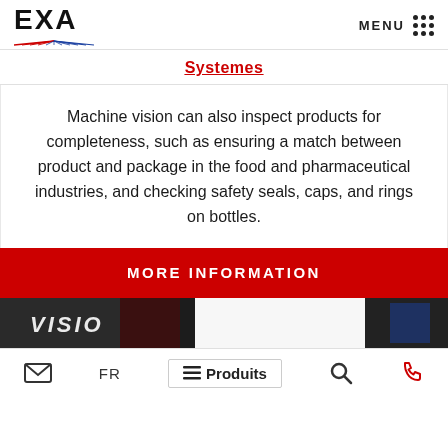EXA — MENU
Systemes
Machine vision can also inspect products for completeness, such as ensuring a match between product and package in the food and pharmaceutical industries, and checking safety seals, caps, and rings on bottles.
MORE INFORMATION
[Figure (photo): Dark image strip showing 'VISION' text and product images, partially overlaid with white panel]
✉  FR  ≡ Produits  🔍  📞